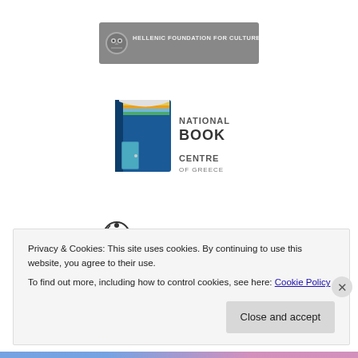[Figure (logo): Hellenic Foundation for Culture logo — grey banner with owl icon and text 'HELLENIC FOUNDATION FOR CULTURE' in small caps]
[Figure (logo): National Book Centre of Greece logo — blue open book illustration with text 'NATIONAL BOOK CENTRE OF GREECE']
[Figure (logo): Greek Film Center logo — film reel icon and bold text 'GREEK FILM CENTER']
[Figure (logo): Athens Epidaurus Festival logo — circular icon and text 'Athens Epidaurus Festival' on an olive-green banner]
Privacy & Cookies: This site uses cookies. By continuing to use this website, you agree to their use.
To find out more, including how to control cookies, see here: Cookie Policy
Close and accept